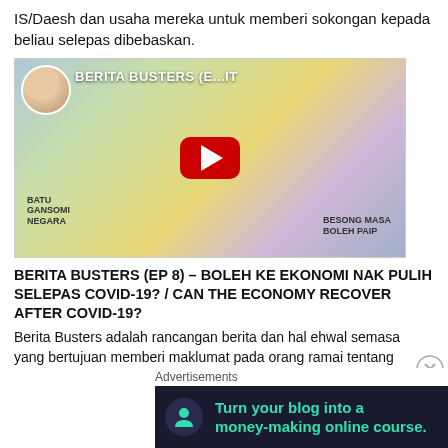IS/Daesh dan usaha mereka untuk memberi sokongan kepada beliau selepas dibebaskan.
[Figure (screenshot): YouTube video thumbnail for Berita Busters (EP 8) showing animated characters and a YouTube play button, with a circular avatar photo of a woman in the top left corner.]
BERITA BUSTERS (EP 8) – BOLEH KE EKONOMI NAK PULIH SELEPAS COVID-19? / CAN THE ECONOMY RECOVER AFTER COVID-19?
Berita Busters adalah rancangan berita dan hal ehwal semasa yang bertujuan memberi maklumat pada orang ramai tentang Covid19 dan Coronavirus. Setiap minggu, hos Zan Azlee dan Sheril A. Bustaman akan berbincang dengan wartawan-wartawan yang sedang membuat liputan di lapangan tentang isu dan berita terkini.
Isu minggu ini – Pemulihan ekonomi
Advertisements
Turn your blog into a money-making online course.